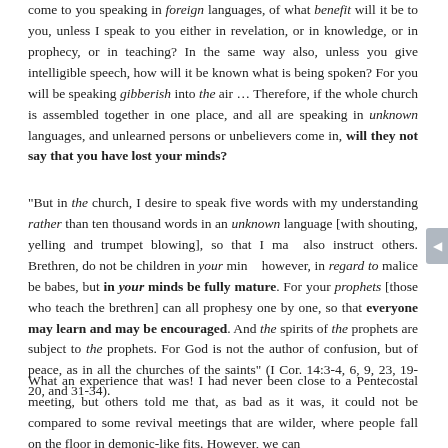come to you speaking in foreign languages, of what benefit will it be to you, unless I speak to you either in revelation, or in knowledge, or in prophecy, or in teaching? In the same way also, unless you give intelligible speech, how will it be known what is being spoken? For you will be speaking gibberish into the air … Therefore, if the whole church is assembled together in one place, and all are speaking in unknown languages, and unlearned persons or unbelievers come in, will they not say that you have lost your minds?
"But in the church, I desire to speak five words with my understanding rather than ten thousand words in an unknown language [with shouting, yelling and trumpet blowing], so that I may also instruct others. Brethren, do not be children in your minds; however, in regard to malice be babes, but in your minds be fully mature. For your prophets [those who teach the brethren] can all prophesy one by one, so that everyone may learn and may be encouraged. And the spirits of the prophets are subject to the prophets. For God is not the author of confusion, but of peace, as in all the churches of the saints" (I Cor. 14:3-4, 6, 9, 23, 19-20, and 31-34).
What an experience that was! I had never been close to a Pentecostal meeting, but others told me that, as bad as it was, it could not be compared to some revival meetings that are wilder, where people fall on the floor in demonic-like fits. However, we can